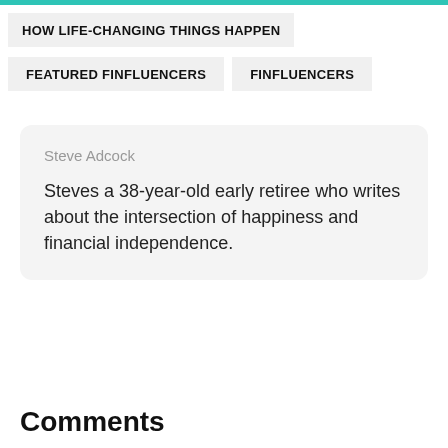HOW LIFE-CHANGING THINGS HAPPEN
FEATURED FINFLUENCERS
FINFLUENCERS
Steve Adcock
Steves a 38-year-old early retiree who writes about the intersection of happiness and financial independence.
Comments